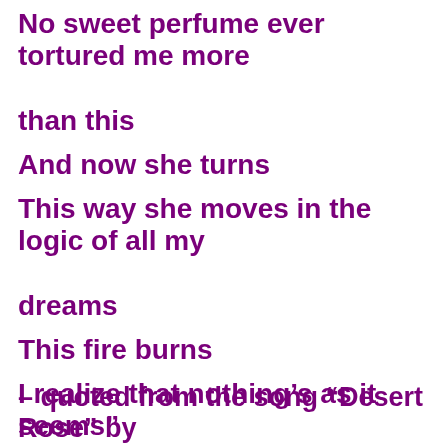No sweet perfume ever tortured me more than this
And now she turns
This way she moves in the logic of all my dreams
This fire burns
I realize that nothing’s as it seems”
– quoted from the song “Desert Rose” by